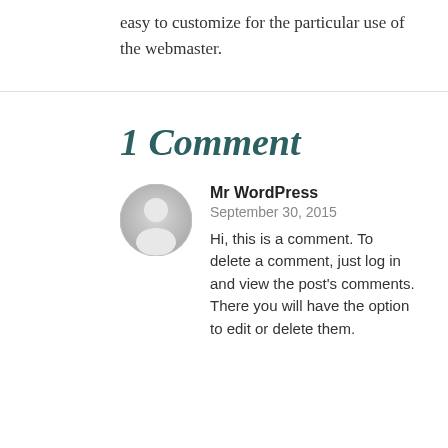easy to customize for the particular use of the webmaster.
1 Comment
Mr WordPress
September 30, 2015
Hi, this is a comment. To delete a comment, just log in and view the post's comments. There you will have the option to edit or delete them.